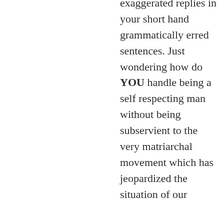exaggerated replies in your short hand grammatically erred sentences. Just wondering how do YOU handle being a self respecting man without being subservient to the very matriarchal movement which has jeopardized the situation of our